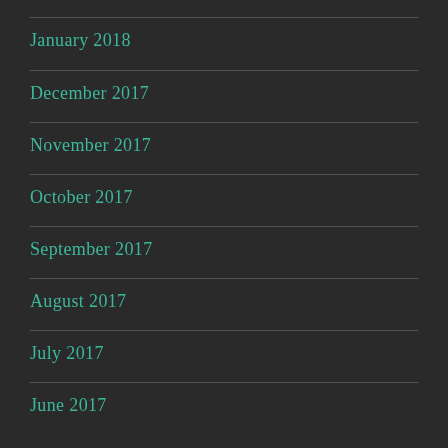January 2018
December 2017
November 2017
October 2017
September 2017
August 2017
July 2017
June 2017